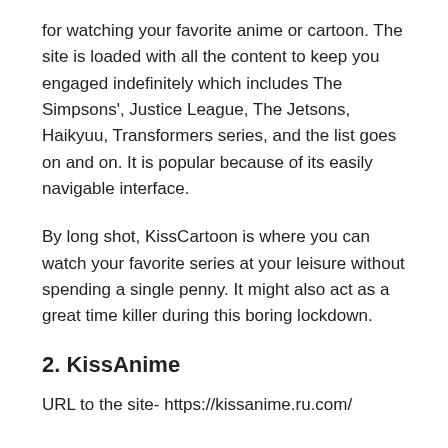for watching your favorite anime or cartoon. The site is loaded with all the content to keep you engaged indefinitely which includes The Simpsons', Justice League, The Jetsons, Haikyuu, Transformers series, and the list goes on and on. It is popular because of its easily navigable interface.
By long shot, KissCartoon is where you can watch your favorite series at your leisure without spending a single penny. It might also act as a great time killer during this boring lockdown.
2. KissAnime
URL to the site- https://kissanime.ru.com/